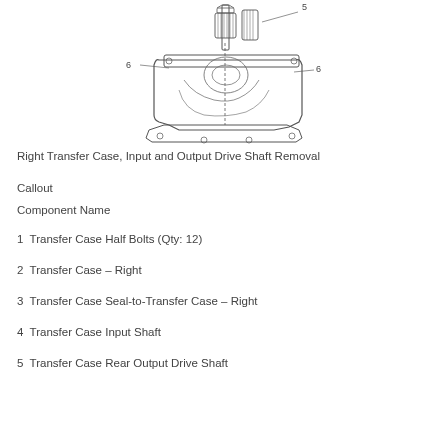[Figure (engineering-diagram): Technical line drawing of Right Transfer Case showing input and output drive shafts with callout numbers 5 and 6 labeled on components]
Right Transfer Case, Input and Output Drive Shaft Removal
Callout
Component Name
1 Transfer Case Half Bolts (Qty: 12)
2 Transfer Case – Right
3 Transfer Case Seal-to-Transfer Case – Right
4 Transfer Case Input Shaft
5 Transfer Case Rear Output Drive Shaft